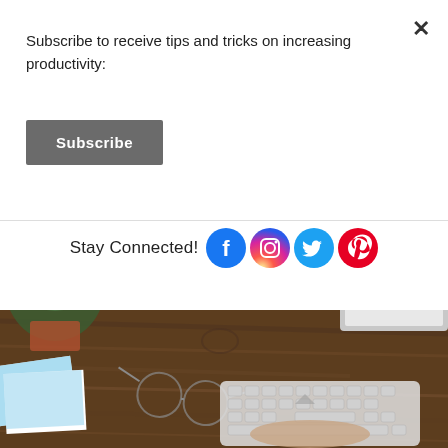Subscribe to receive tips and tricks on increasing productivity:
Subscribe
Stay Connected!
[Figure (screenshot): Overhead desk photo with succulent plant, monitor, glasses, keyboard, and photos on wooden surface]
[Figure (other): Social media icons: Facebook, Instagram, Twitter, Pinterest]